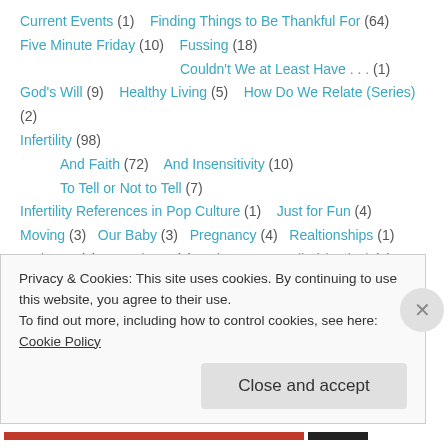Current Events (1)    Finding Things to Be Thankful For (64)
Five Minute Friday (10)    Fussing (18)
Couldn't We at Least Have . . . (1)
God's Will (9)    Healthy Living (5)    How Do We Relate (Series) (2)
Infertility (98)
And Faith (72)    And Insensitivity (10)
To Tell or Not to Tell (7)
Infertility References in Pop Culture (1)    Just for Fun (4)
Moving (3)    Our Baby (3)    Pregnancy (4)    Realtionships (1)
Scripture (4)    Seminary (3)    They Were Called (series) (8)
Traditional Chinese Medicine (1)    Uncategorized (2)
Acupuncture (1)
Privacy & Cookies: This site uses cookies. By continuing to use this website, you agree to their use.
To find out more, including how to control cookies, see here: Cookie Policy
Close and accept